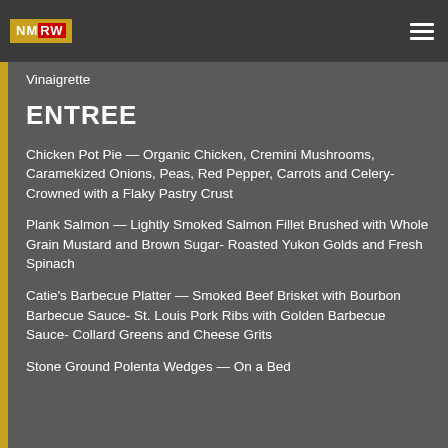NMRW
Pasta Salad — Mixed Greens with Apples, Celery, Tomatoes, Sunflower Seeds and Pumpkin seeds, Crispies- Pomegranate Vinaigrette
ENTREE
Chicken Pot Pie — Organic Chicken, Cremini Mushrooms, Caramekized Onions, Peas, Red Pepper, Carrots and Celery- Crowned with a Flaky Pastry Crust
Plank Salmon — Lightly Smoked Salmon Fillet Brushed with Whole Grain Mustard and Brown Sugar- Roasted Yukon Golds and Fresh Spinach
Catie's Barbecue Platter — Smoked Beef Brisket with Bourbon Barbecue Sauce- St. Louis Pork Ribs with Golden Barbecue Sauce- Collard Greens and Cheese Grits
Stone Ground Polenta Wedges — On a Bed